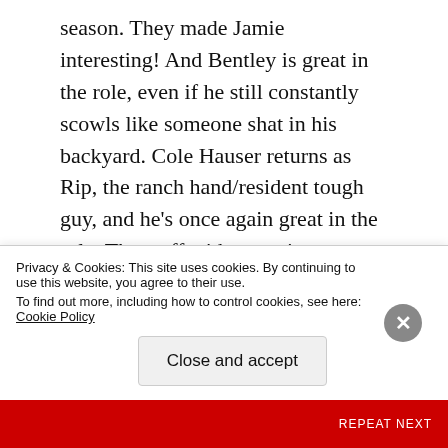season. They made Jamie interesting! And Bentley is great in the role, even if he still constantly scowls like someone shat in his backyard. Cole Hauser returns as Rip, the ranch hand/resident tough guy, and he's once again great in the role. The stuff with returning antagonists Danny Huston and Gil Birminham is still solid. And new antagonist Neal McDonough, he's pretty good. We of course also get supporting performances from people like Kelsey Asbille, Brecken Merrill, Jefferson White, Forrie J. Smith, Hugh Dillon, Ryan Bingham, and more, all doing very well in their respective roles.
Privacy & Cookies: This site uses cookies. By continuing to use this website, you agree to their use.
To find out more, including how to control cookies, see here: Cookie Policy
Close and accept